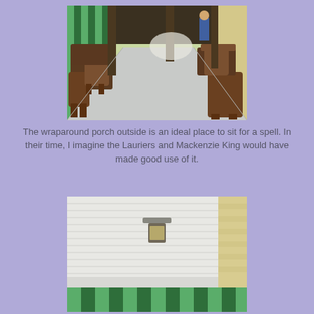[Figure (photo): A wraparound porch with wicker chairs and tables arranged along both sides of a long corridor with a light grey floor. Green striped awning visible at the far end. A person stands in the background.]
The wraparound porch outside is an ideal place to sit for a spell. In their time, I imagine the Lauriers and Mackenzie King would have made good use of it.
[Figure (photo): Close-up of the porch ceiling showing white painted beadboard planks with a vintage lantern-style light fixture mounted in the center. Brick wall visible on the right and green striped awning at the bottom.]